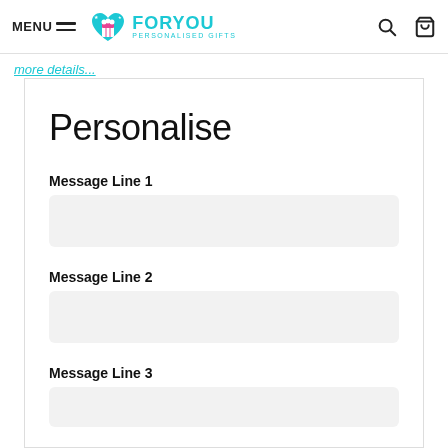MENU | ForYou Personalised Gifts
more details...
Personalise
Message Line 1
Message Line 2
Message Line 3